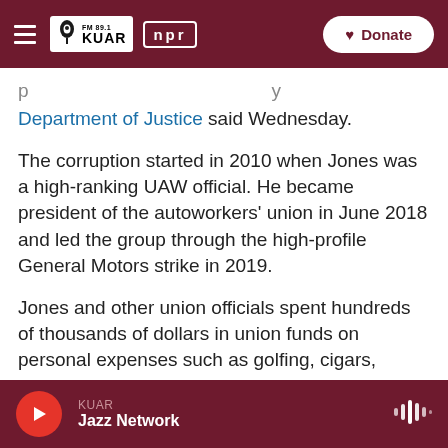FM 89.1 KUAR | NPR | Donate
Department of Justice said Wednesday.
The corruption started in 2010 when Jones was a high-ranking UAW official. He became president of the autoworkers' union in June 2018 and led the group through the high-profile General Motors strike in 2019.
Jones and other union officials spent hundreds of thousands of dollars in union funds on personal expenses such as golfing, cigars, meals and liquor, and private villas while using fraudulent expense forms to conceal the embezzlement, the Justice
KUAR | Jazz Network